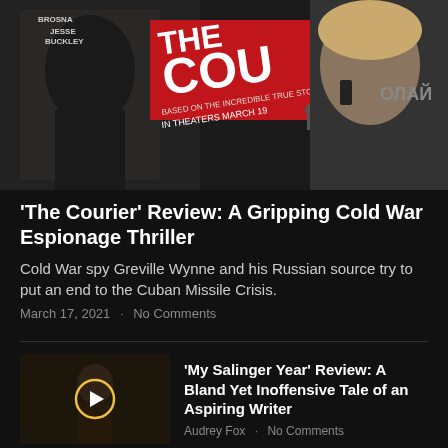[Figure (photo): Movie poster/banner for 'The Courier' showing actors and text 'THE COU...' 'IN THEATERS MARCH 19' with a woman on phone on right side]
'The Courier' Review: A Gripping Cold War Espionage Thriller
Cold War spy Greville Wynne and his Russian source try to put an end to the Cuban Missile Crisis.
March 17, 2021  ·  No Comments
[Figure (photo): Thumbnail image of a person with play button overlay for 'My Salinger Year' review]
'My Salinger Year' Review: A Bland Yet Inoffensive Tale of an Aspiring Writer
Audrey Fox  ·  No Comments
[Figure (photo): Thumbnail image of a person with play button overlay for 'Boss Level' review]
'Boss Level' Review: Saving the World by Trial and Error
Joseph Braverman  ·  No Comments